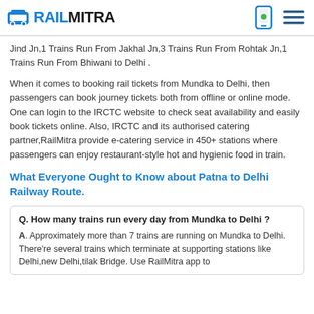RAILMITRA
Jind Jn,1 Trains Run From Jakhal Jn,3 Trains Run From Rohtak Jn,1 Trains Run From Bhiwani to Delhi .
When it comes to booking rail tickets from Mundka to Delhi, then passengers can book journey tickets both from offline or online mode. One can login to the IRCTC website to check seat availability and easily book tickets online. Also, IRCTC and its authorised catering partner,RailMitra provide e-catering service in 450+ stations where passengers can enjoy restaurant-style hot and hygienic food in train.
What Everyone Ought to Know about Patna to Delhi Railway Route.
Q. How many trains run every day from Mundka to Delhi ?
A. Approximately more than 7 trains are running on Mundka to Delhi. There're several trains which terminate at supporting stations like Delhi,new Delhi,tilak Bridge. Use RailMitra app to